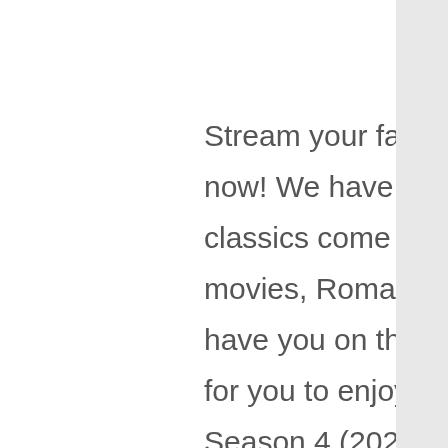Stream your favorite Episodes or TV show right now! We have the latest and greatest to the classics come sign up for free. Action Drama movies, Romantic chick flicks, Thrillers that will have you on the edge of your seat, we have it all for you to enjoy on your PC Stranger Things Season 4 (2022) Full Episodes Watch online FULL Episodes Sign Up 123 Episodess Online !! [DvdRip-HINDI]] Stranger Things Season 4 ! (2022) Full Episodes Watch online free 123 Episodess Online!! Stranger Things Season 4 (2022) Stranger Things Season 4 (2022) Full Online HD Episodes Streaming Free Unlimited Download, Stranger Things Season 4 Full Series 2022 Online Episodes for Free DVD Rip Full HD With English Subtitles Ready For Download. Stranger Things Season 4 (2022) Online Full